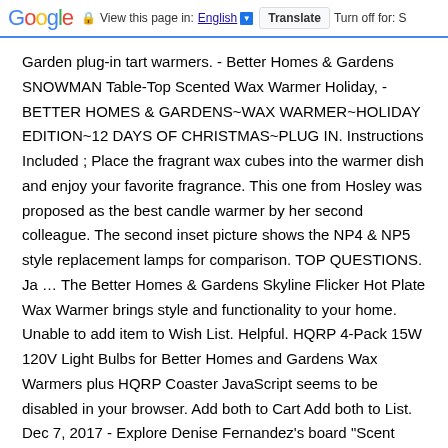Google  View this page in: English  Translate  Turn off for: S
Garden plug-in tart warmers. - Better Homes & Gardens SNOWMAN Table-Top Scented Wax Warmer Holiday, - BETTER HOMES & GARDENS~WAX WARMER~HOLIDAY EDITION~12 DAYS OF CHRISTMAS~PLUG IN. Instructions Included ; Place the fragrant wax cubes into the warmer dish and enjoy your favorite fragrance. This one from Hosley was proposed as the best candle warmer by her second colleague. The second inset picture shows the NP4 & NP5 style replacement lamps for comparison. TOP QUESTIONS. Ja … The Better Homes & Gardens Skyline Flicker Hot Plate Wax Warmer brings style and functionality to your home. Unable to add item to Wish List. Helpful. HQRP 4-Pack 15W 120V Light Bulbs for Better Homes and Gardens Wax Warmers plus HQRP Coaster JavaScript seems to be disabled in your browser. Add both to Cart Add both to List. Dec 7, 2017 - Explore Denise Fernandez's board "Scent Warmers", followed by 411 people on Pinterest. Stay safe and healthy. Better Homes & Gardens creates home fragranced products such as candles, wax melts, and diffuser oils which can be purchased online at their website or found in Walmart stores.